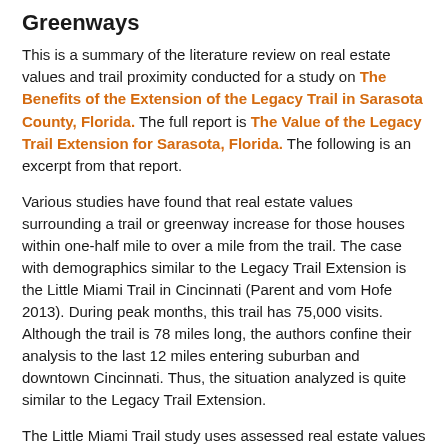Greenways
This is a summary of the literature review on real estate values and trail proximity conducted for a study on The Benefits of the Extension of the Legacy Trail in Sarasota County, Florida. The full report is The Value of the Legacy Trail Extension for Sarasota, Florida. The following is an excerpt from that report.
Various studies have found that real estate values surrounding a trail or greenway increase for those houses within one-half mile to over a mile from the trail. The case with demographics similar to the Legacy Trail Extension is the Little Miami Trail in Cincinnati (Parent and vom Hofe 2013). During peak months, this trail has 75,000 visits. Although the trail is 78 miles long, the authors confine their analysis to the last 12 miles entering suburban and downtown Cincinnati. Thus, the situation analyzed is quite similar to the Legacy Trail Extension.
The Little Miami Trail study uses assessed real estate values as the dependent variable and controls for such factors as home size, distance from city, number of rooms, and